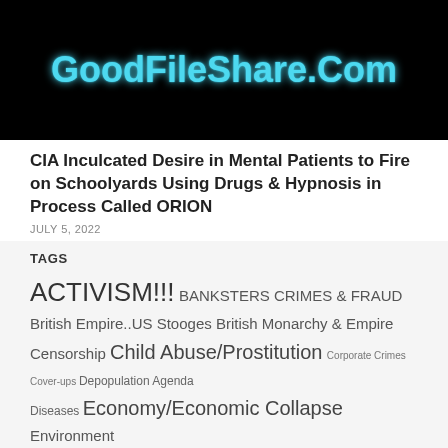[Figure (logo): GoodFileShare.Com website banner logo with cyan/blue glowing text on black background]
CIA Inculcated Desire in Mental Patients to Fire on Schoolyards Using Drugs & Hypnosis in Process Called ORION
JULY 5, 2022
TAGS
ACTIVISM!!! BANKSTERS CRIMES & FRAUD British Empire..US Stooges British Monarchy & Empire Censorship Child Abuse/Prostitution Corporate Crimes Cover-ups Depopulation Agenda Diseases Economy/Economic Collapse Environment Genocide/Holocaust Geopolitics Hidden History ILLUMINATI CRIMINALS illuminati puppets LarouchePac larouchepub.com LaRouchepub.com MEDIA